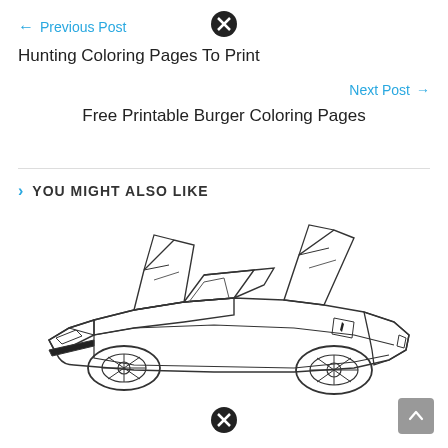← Previous Post
Hunting Coloring Pages To Print
Next Post →
Free Printable Burger Coloring Pages
YOU MIGHT ALSO LIKE
[Figure (illustration): Line drawing / coloring page of a Lamborghini Aventador with scissor doors open, shown from a three-quarter front view]